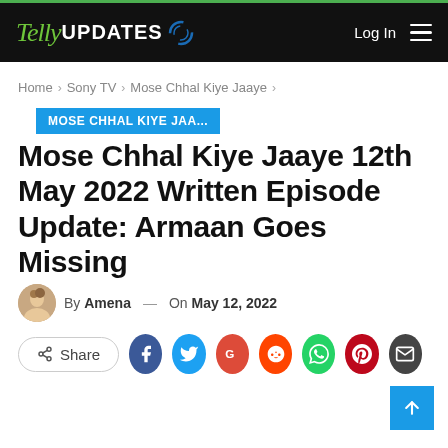Telly UPDATES — Log In [menu]
Home > Sony TV > Mose Chhal Kiye Jaaye >
MOSE CHHAL KIYE JAA...
Mose Chhal Kiye Jaaye 12th May 2022 Written Episode Update: Armaan Goes Missing
By Amena — On May 12, 2022
Share [Facebook] [Twitter] [Google] [Reddit] [WhatsApp] [Pinterest] [Email]